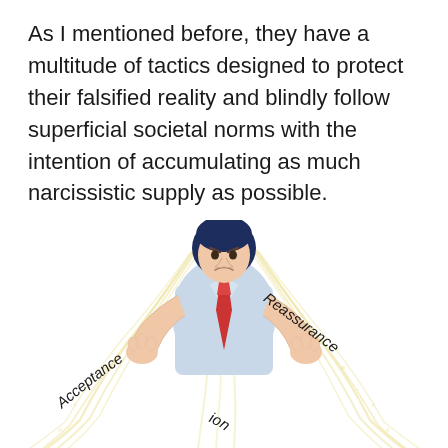As I mentioned before, they have a multitude of tactics designed to protect their falsified reality and blindly follow superficial societal norms with the intention of accumulating as much narcissistic supply as possible.
[Figure (illustration): Illustration of an angry man in a light blue shirt and red tie, pulling strings/threads downward with both hands. The strings fan out with curved labels reading 'Acceptance' on the left, 'Reassurance' on the right, and partially visible text at the bottom including 'ion'.]